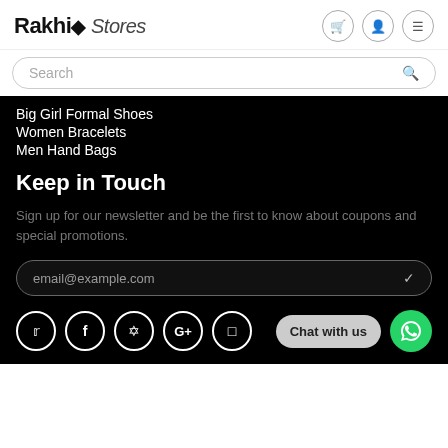Rakhi Stores
Search
Big Girl Formal Shoes
Women Bracelets
Men Hand Bags
Keep in Touch
Sign up for our newsletter and be the first to know about coupons and special promotions.
email@example.com
Chat with us